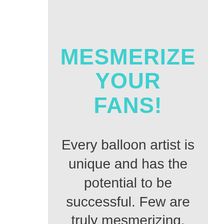MESMERIZE YOUR FANS!
Every balloon artist is unique and has the potential to be successful. Few are truly mesmerizing, leaving